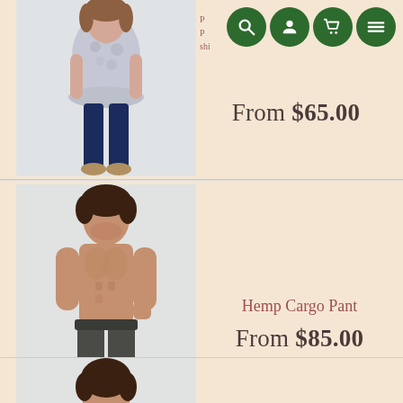[Figure (photo): Woman wearing floral top and dark blue jeans, standing full body, light background]
[Figure (screenshot): Navigation bar icons: search, account, cart, menu — green circle buttons]
From $65.00
[Figure (photo): Shirtless man wearing dark grey hemp cargo pants, standing full body, light background]
Hemp Cargo Pant
From $85.00
[Figure (photo): Man, partial view from shoulders up, bottom of page, third product listing]